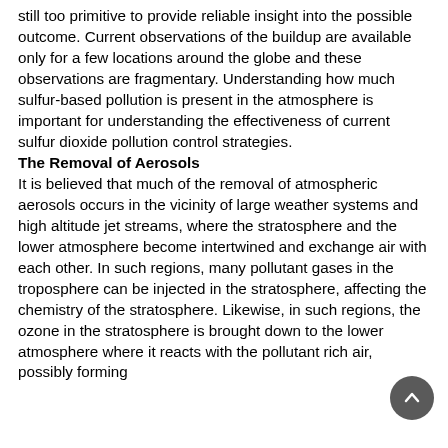still too primitive to provide reliable insight into the possible outcome. Current observations of the buildup are available only for a few locations around the globe and these observations are fragmentary. Understanding how much sulfur-based pollution is present in the atmosphere is important for understanding the effectiveness of current sulfur dioxide pollution control strategies.
The Removal of Aerosols
It is believed that much of the removal of atmospheric aerosols occurs in the vicinity of large weather systems and high altitude jet streams, where the stratosphere and the lower atmosphere become intertwined and exchange air with each other. In such regions, many pollutant gases in the troposphere can be injected in the stratosphere, affecting the chemistry of the stratosphere. Likewise, in such regions, the ozone in the stratosphere is brought down to the lower atmosphere where it reacts with the pollutant rich air, possibly forming